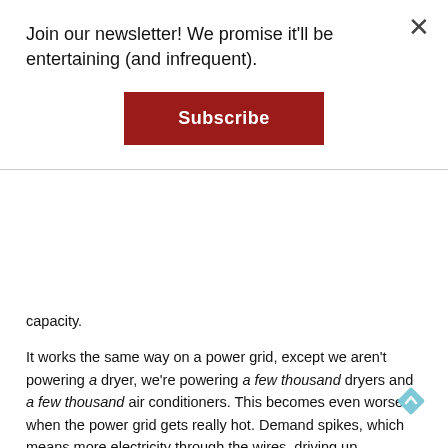Join our newsletter! We promise it'll be entertaining (and infrequent).
Subscribe
capacity.
It works the same way on a power grid, except we aren't powering a dryer, we're powering a few thousand dryers and a few thousand air conditioners. This becomes even worse when the power grid gets really hot. Demand spikes, which means more electricity through the wires, driving up temperatures. But when this combines with the heat of a particularly warm day, the transmission losses actually increase– a lot- when the lines get really hot, too.
Now, imagine the complexity of adding a DC fast charger to your garage for your Tesla. That's, well, several dryers worth of power.